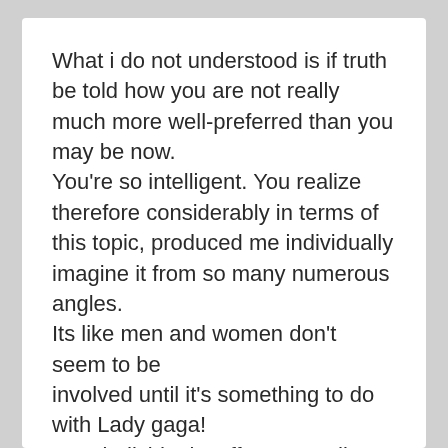What i do not understood is if truth be told how you are not really much more well-preferred than you may be now. You're so intelligent. You realize therefore considerably in terms of this topic, produced me individually imagine it from so many numerous angles. Its like men and women don't seem to be involved until it's something to do with Lady gaga! Your individual stuffs outstanding. All the time